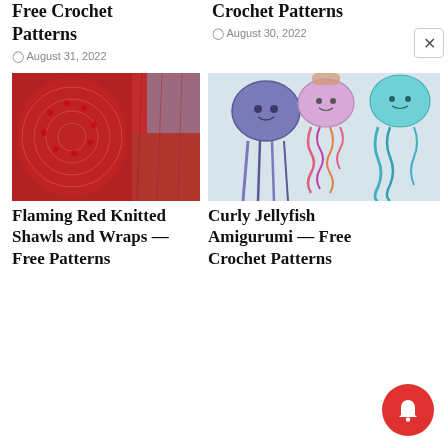Free Crochet Patterns
August 31, 2022
Crochet Patterns
August 30, 2022
[Figure (photo): Flaming red knitted shawl and red fabric draped on a wall]
[Figure (photo): Three curly jellyfish amigurumi crochet plushies in purple, pink, and teal]
Flaming Red Knitted Shawls and Wraps — Free Patterns
Curly Jellyfish Amigurumi — Free Crochet Patterns